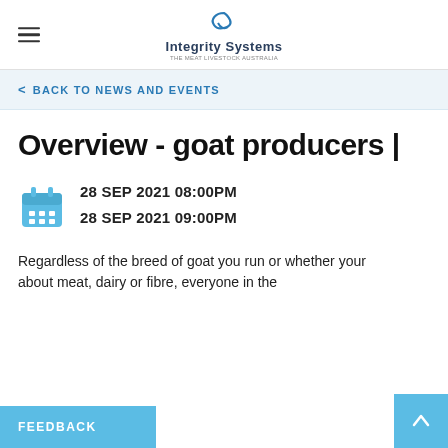Integrity Systems
< BACK TO NEWS AND EVENTS
Overview - goat producers |
28 SEP 2021 08:00PM
28 SEP 2021 09:00PM
Regardless of the breed of goat you run or whether your ... about meat, dairy or fibre, everyone in the